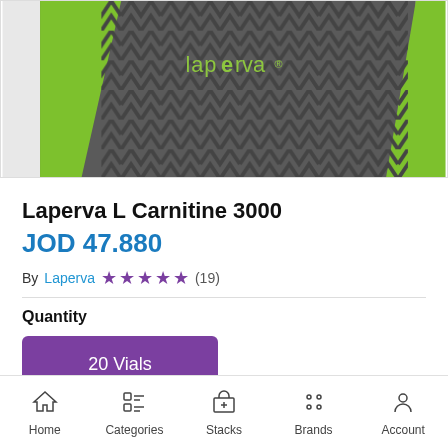[Figure (photo): Laperva product box — green and dark grey diagonal pattern, with 'laperva' logo in green text on grey background]
Laperva L Carnitine 3000
JOD 47.880
By Laperva ★★★★★ (19)
Quantity
20 Vials
Home  Categories  Stacks  Brands  Account